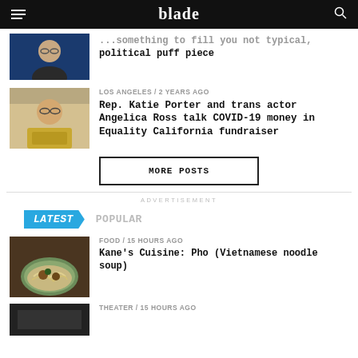blade
[Figure (photo): Partial article thumbnail showing a person with glasses]
...something to fill you not typical, political puff piece
LOS ANGELES / 2 years ago
[Figure (photo): Person with glasses holding a box]
Rep. Katie Porter and trans actor Angelica Ross talk COVID-19 money in Equality California fundraiser
MORE POSTS
ADVERTISEMENT
LATEST  POPULAR
FOOD / 15 hours ago
[Figure (photo): Bowl of pho Vietnamese noodle soup]
Kane's Cuisine: Pho (Vietnamese noodle soup)
THEATER / 15 hours ago